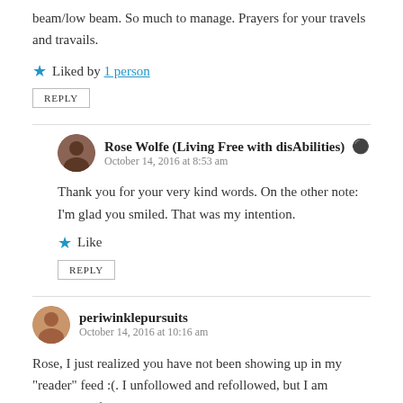beam/low beam. So much to manage. Prayers for your travels and travails.
★ Liked by 1 person
REPLY
Rose Wolfe (Living Free with disAbilities) October 14, 2016 at 8:53 am
Thank you for your very kind words. On the other note: I'm glad you smiled. That was my intention.
★ Like
REPLY
periwinklepursuits October 14, 2016 at 10:16 am
Rose, I just realized you have not been showing up in my "reader" feed :(. I unfollowed and refollowed, but I am wondering if others are having the same problem? I missed your posts! ❤
★ Liked by 1 person